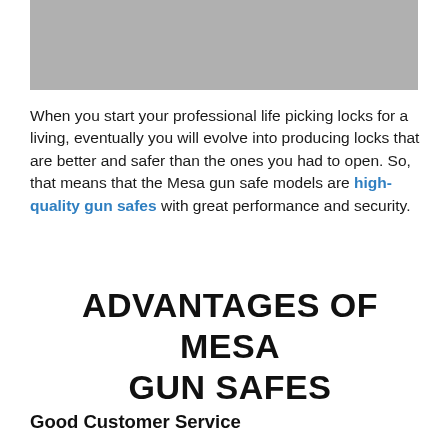[Figure (photo): Gray rectangular image block at the top of the page]
When you start your professional life picking locks for a living, eventually you will evolve into producing locks that are better and safer than the ones you had to open. So, that means that the Mesa gun safe models are high-quality gun safes with great performance and security.
ADVANTAGES OF MESA GUN SAFES
Good Customer Service